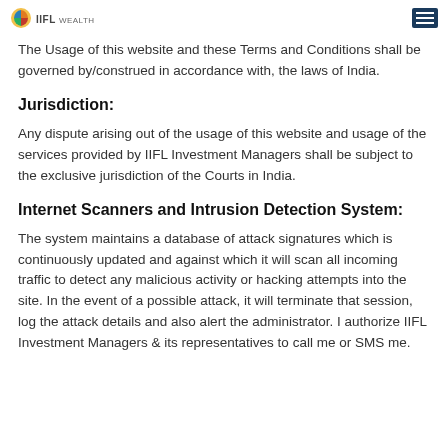IIFL Wealth
The Usage of this website and these Terms and Conditions shall be governed by/construed in accordance with, the laws of India.
Jurisdiction:
Any dispute arising out of the usage of this website and usage of the services provided by IIFL Investment Managers shall be subject to the exclusive jurisdiction of the Courts in India.
Internet Scanners and Intrusion Detection System:
The system maintains a database of attack signatures which is continuously updated and against which it will scan all incoming traffic to detect any malicious activity or hacking attempts into the site. In the event of a possible attack, it will terminate that session, log the attack details and also alert the administrator. I authorize IIFL Investment Managers & its representatives to call me or SMS me.